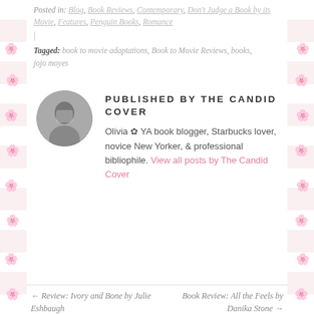Posted in: Blog, Book Reviews, Contemporary, Don't Judge a Book by its Movie, Features, Penguin Books, Romance
|
Tagged: book to movie adaptations, Book to Movie Reviews, books, jojo moyes
PUBLISHED BY THE CANDID COVER
Olivia ✿ YA book blogger, Starbucks lover, novice New Yorker, & professional bibliophile. View all posts by The Candid Cover
← Review: Ivory and Bone by Julie Eshbaugh
Book Review: All the Feels by Danika Stone →